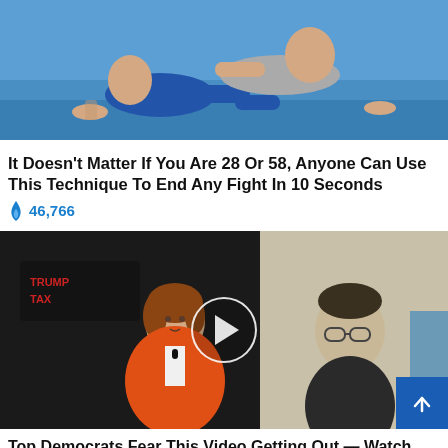[Figure (photo): Two people wrestling/grappling on a blue mat, one person in blue shorts grappling with another in a grey shirt]
It Doesn't Matter If You Are 28 Or 58, Anyone Can Use This Technique To End Any Fight In 10 Seconds
🔥 46,766
[Figure (photo): Woman in orange blazer speaking at a podium with a play button overlay indicating a video, man in background with glasses, Trump Tax signage visible]
Top Democrats Fear This Video Getting Out — Watch Now Before It's Banned